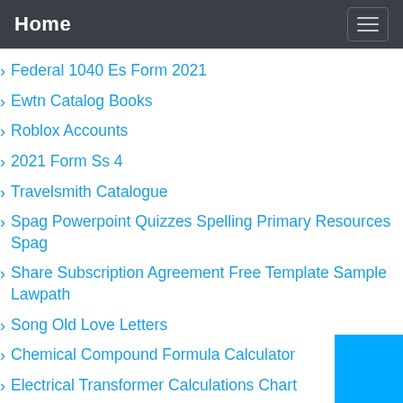Home
Federal 1040 Es Form 2021
Ewtn Catalog Books
Roblox Accounts
2021 Form Ss 4
Travelsmith Catalogue
Spag Powerpoint Quizzes Spelling Primary Resources Spag
Share Subscription Agreement Free Template Sample Lawpath
Song Old Love Letters
Chemical Compound Formula Calculator
Electrical Transformer Calculations Chart
Social Psychology Powerpoint Template Sketchbubbles